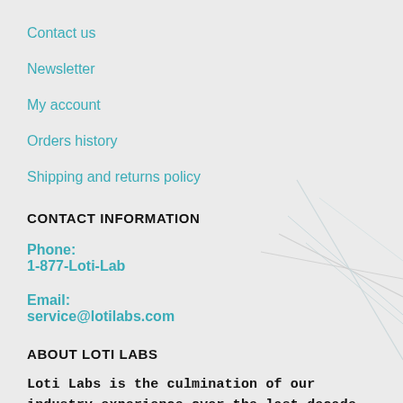Contact us
Newsletter
My account
Orders history
Shipping and returns policy
CONTACT INFORMATION
Phone:
1-877-Loti-Lab
Email:
service@lotilabs.com
ABOUT LOTI LABS
Loti Labs is the culmination of our industry experience over the last decade. Our aim is to bring you a boutique